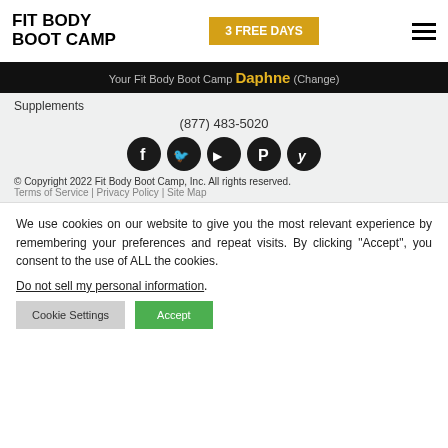[Figure (logo): Fit Body Boot Camp logo - bold black uppercase text]
3 FREE DAYS
Your Fit Body Boot Camp Daphne (Change)
Supplements
(877) 483-5020
[Figure (illustration): Social media icons: Facebook, Twitter, YouTube, Pinterest, Yelp]
© Copyright 2022 Fit Body Boot Camp, Inc. All rights reserved.
Terms of Service | Privacy Policy | Site Map
We use cookies on our website to give you the most relevant experience by remembering your preferences and repeat visits. By clicking "Accept", you consent to the use of ALL the cookies.
Do not sell my personal information.
Cookie Settings
Accept